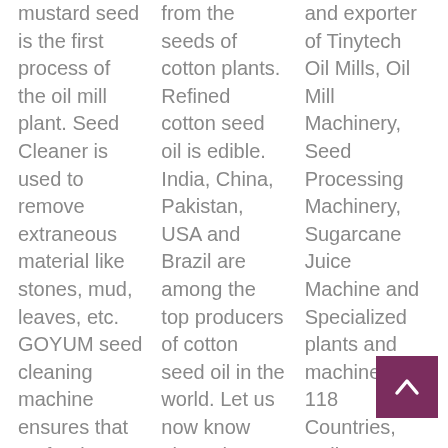mustard seed is the first process of the oil mill plant. Seed Cleaner is used to remove extraneous material like stones, mud, leaves, etc. GOYUM seed cleaning machine ensures that no foreign
from the seeds of cotton plants. Refined cotton seed oil is edible. India, China, Pakistan, USA and Brazil are among the top producers of cotton seed oil in the world. Let us now know about the various
and exporter of Tinytech Oil Mills, Oil Mill Machinery, Seed Processing Machinery, Sugarcane Juice Machine and Specialized plants and machinery to 118 Countries, Rajkot (Gujarat), INDIA Sugarcane